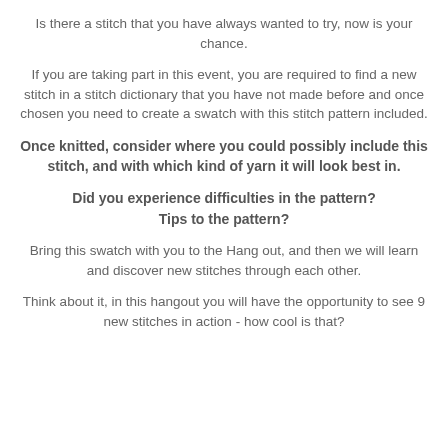Is there a stitch that you have always wanted to try, now is your chance.
If you are taking part in this event, you are required to find a new stitch in a stitch dictionary that you have not made before and once chosen you need to create a swatch with this stitch pattern included.
Once knitted, consider where you could possibly include this stitch, and with which kind of yarn it will look best in.
Did you experience difficulties in the pattern? Tips to the pattern?
Bring this swatch with you to the Hang out, and then we will learn and discover new stitches through each other.
Think about it, in this hangout you will have the opportunity to see 9 new stitches in action - how cool is that?